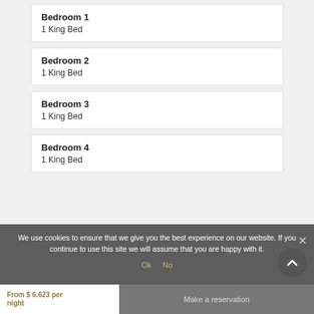Bedroom 1
1 King Bed
Bedroom 2
1 King Bed
Bedroom 3
1 King Bed
Bedroom 4
1 King Bed
We use cookies to ensure that we give you the best experience on our website. If you continue to use this site we will assume that you are happy with it.
Ok  No
From $ 6.623 per night
Make a reservation